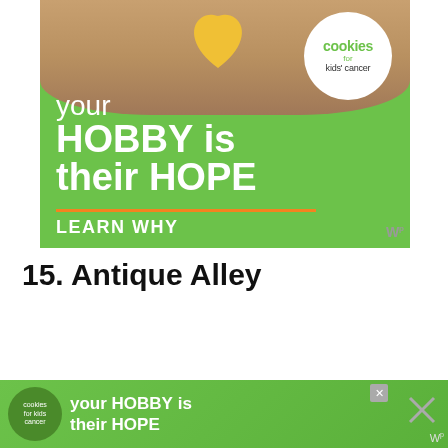[Figure (illustration): Cookies for Kids Cancer advertisement banner. Green background with hands holding a heart-shaped cookie, white circle logo with 'cookies for kids cancer', large white text reading 'your HOBBY is their HOPE' with an orange underline, and 'LEARN WHY' call to action.]
15. Antique Alley
[Figure (photo): Photo of an antique shop sign. Wooden plank background (cream/beige color) with a dark red/maroon sign showing 'ANTIQUES' text in cream letters.]
[Figure (illustration): Bottom advertisement banner for Cookies for Kids Cancer, repeating the 'your HOBBY is their HOPE' message on a green background, with a circular logo on the left and close buttons on the right.]